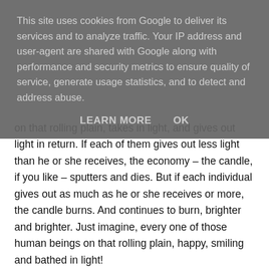This site uses cookies from Google to deliver its services and to analyze traffic. Your IP address and user-agent are shared with Google along with performance and security metrics to ensure quality of service, generate usage statistics, and to detect and address abuse.
LEARN MORE   OK
on that rolling plain, takes in light, and gives out light in return. If each of them gives out less light than he or she receives, the economy – the candle, if you like – sputters and dies. But if each individual gives out as much as he or she receives or more, the candle burns. And continues to burn, brighter and brighter. Just imagine, every one of those human beings on that rolling plain, happy, smiling and bathed in light!
Now let's zoom out again. Look in your imagination, from out in space, at the planet Earth. Look at the places where there is peaceful, purposeful, productive human activity. Think of those billions of human beings, who play their full part in this activity, as sources of light. Watch them, in your mind, glow – and grow. Watch the light of peace, prosperity and progress